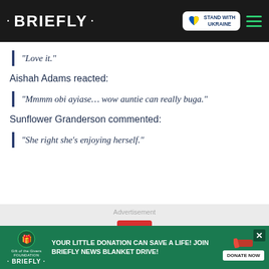· BRIEFLY ·  STAND WITH UKRAINE
“Love it.”
Aishah Adams reacted:
“Mmmm obi ayiase… wow auntie can really buga.”
Sunflower Granderson commented:
“She right she’s enjoying herself.”
Advertisement
[Figure (other): Red button with down arrow chevron in advertisement area]
[Figure (other): Briefly news blanket drive donation banner: YOUR LITTLE DONATION CAN SAVE A LIFE! JOIN BRIEFLY NEWS BLANKET DRIVE! with DONATE NOW button]